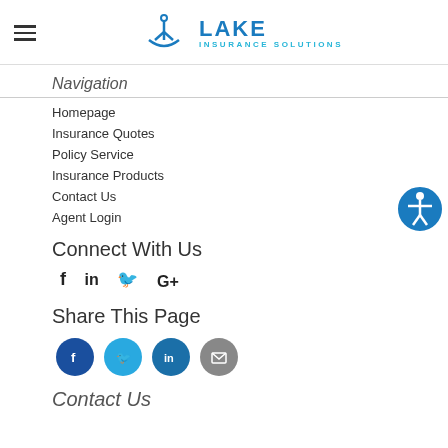LAKE INSURANCE SOLUTIONS
Navigation
Homepage
Insurance Quotes
Policy Service
Insurance Products
Contact Us
Agent Login
Connect With Us
[Figure (illustration): Social media icons: Facebook (f), LinkedIn (in), Twitter bird, Google Plus (G+)]
Share This Page
[Figure (illustration): Circular share buttons: Facebook (dark blue), Twitter (light blue), LinkedIn (dark teal), Email (gray)]
Contact Us